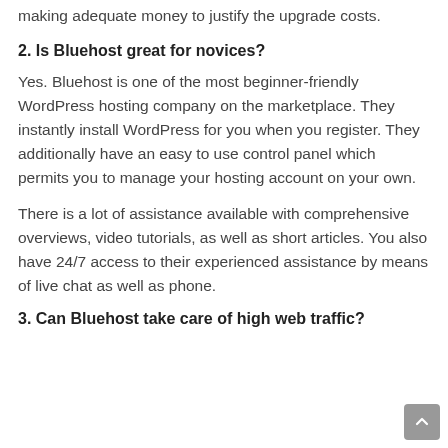making adequate money to justify the upgrade costs.
2. Is Bluehost great for novices?
Yes. Bluehost is one of the most beginner-friendly WordPress hosting company on the marketplace. They instantly install WordPress for you when you register. They additionally have an easy to use control panel which permits you to manage your hosting account on your own.
There is a lot of assistance available with comprehensive overviews, video tutorials, as well as short articles. You also have 24/7 access to their experienced assistance by means of live chat as well as phone.
3. Can Bluehost take care of high web traffic?